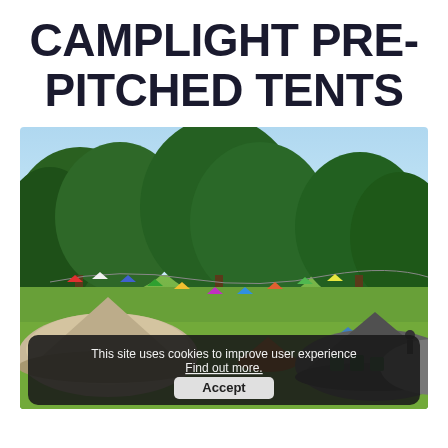CAMPLIGHT PRE-PITCHED TENTS
[Figure (photo): Outdoor campsite with multiple colourful tents pitched on green grass, bunting flags strung between poles, large trees in background under a blue sky. Overlay shows a cookie consent banner reading 'This site uses cookies to improve user experience Find out more.' with an Accept button.]